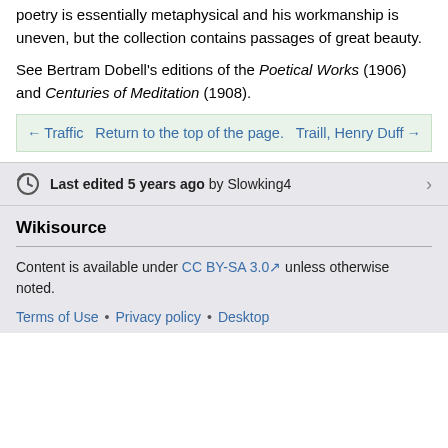poetry is essentially metaphysical and his workmanship is uneven, but the collection contains passages of great beauty.
See Bertram Dobell's editions of the Poetical Works (1906) and Centuries of Meditation (1908).
| ← Traffic | Return to the top of the page. | Traill, Henry Duff → |
| --- | --- | --- |
Last edited 5 years ago by Slowking4
Wikisource
Content is available under CC BY-SA 3.0 unless otherwise noted.
Terms of Use • Privacy policy • Desktop